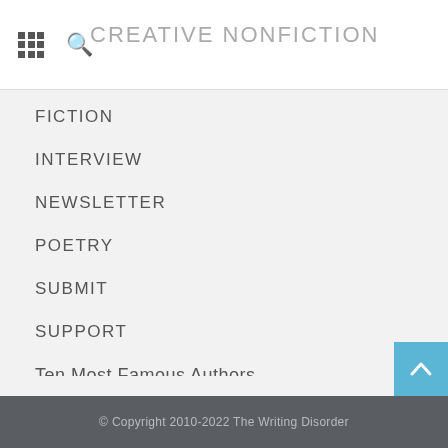CREATIVE NONFICTION
FICTION
INTERVIEW
NEWSLETTER
POETRY
SUBMIT
SUPPORT
Ten Most Famous Authors
TERMS & CONDITIONS
The Write Recipe
The Writing Disorder
© Copyright 2010-2022 The Writing Disorder